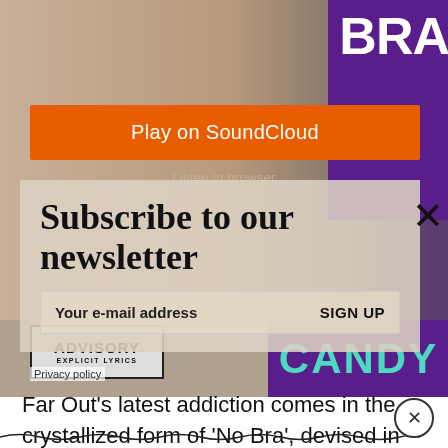[Figure (screenshot): Screenshot of a music website showing a person with tattoos against a purple background, with 'BRA' text visible in upper right corner]
Play on SoundCloud
Listen in browser
Subscribe to our newsletter
Your e-mail address    SIGN UP
[Figure (screenshot): Parental Advisory Explicit Lyrics logo in black and white]
CANDY
Privacy policy
Far Out's latest addiction comes in the crystallized form of 'No Bra', devised in the laboratorial, melting